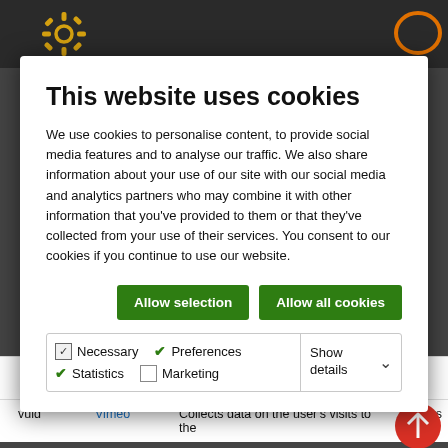[Figure (screenshot): Website cookie consent modal dialog over a dark-themed website header. The modal contains title, body text, two green buttons, and a checkbox row for cookie categories.]
This website uses cookies
We use cookies to personalise content, to provide social media features and to analyse our traffic. We also share information about your use of our site with our social media and analytics partners who may combine it with other information that you've provided to them or that they've collected from your use of their services. You consent to our cookies if you continue to use our website.
Allow selection | Allow all cookies
Necessary | Preferences | Statistics | Marketing | Show details
|  |  | internal analytics by the website operator. |  |
| --- | --- | --- | --- |
| vuid | Vimeo | Collects data on the user's visits to the | 2 years |